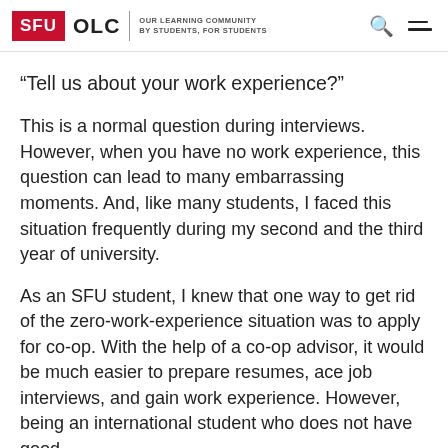SFU OLC | OUR LEARNING COMMUNITY BY STUDENTS, FOR STUDENTS
“Tell us about your work experience?”
This is a normal question during interviews. However, when you have no work experience, this question can lead to many embarrassing moments. And, like many students, I faced this situation frequently during my second and the third year of university.
As an SFU student, I knew that one way to get rid of the zero-work-experience situation was to apply for co-op. With the help of a co-op advisor, it would be much easier to prepare resumes, ace job interviews, and gain work experience. However, being an international student who does not have good